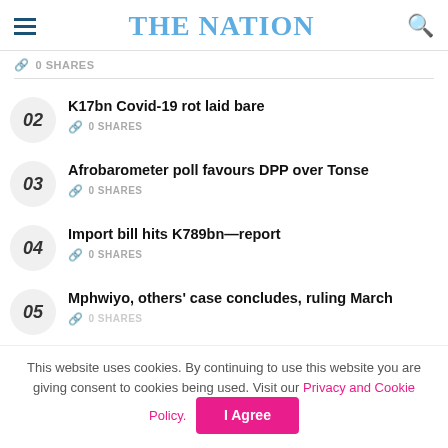THE NATION
0 SHARES
02 K17bn Covid-19 rot laid bare — 0 SHARES
03 Afrobarometer poll favours DPP over Tonse — 0 SHARES
04 Import bill hits K789bn—report — 0 SHARES
05 Mphwiyo, others' case concludes, ruling March — 0 SHARES
This website uses cookies. By continuing to use this website you are giving consent to cookies being used. Visit our Privacy and Cookie Policy.